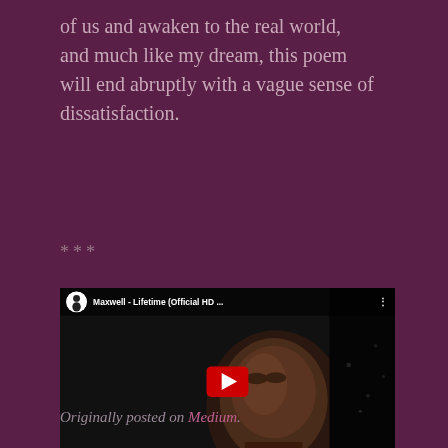of us and awaken to the real world, and much like my dream, this poem will end abruptly with a vague sense of dissatisfaction.
***
[Figure (screenshot): YouTube video embed thumbnail for 'Maxwell - Lifetime (Official HD ...' with Vevo branding, showing a man's face in dim lighting with a red YouTube play button in the center.]
Originally posted on Medium.